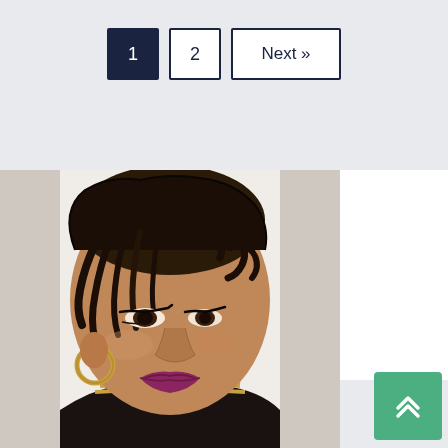[Figure (other): Pagination controls: button '1' (active, dark navy background), button '2' (outlined), button 'Next »' (outlined, wider)]
[Figure (photo): Portrait photo of a woman with natural twisted hair, dramatic eye makeup, hoop earrings, dark lipstick, wearing a black top with gold embellishment at neckline. Background is white/light. Photo occupies left portion of lower section.]
[Figure (other): Green scroll-to-top button with double upward chevron arrows, positioned at bottom right over white panel area.]